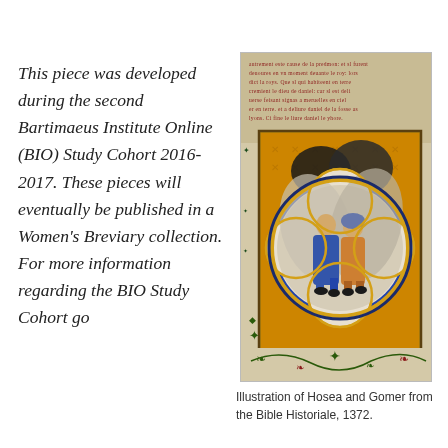This piece was developed during the second Bartimaeus Institute Online (BIO) Study Cohort 2016-2017.  These pieces will eventually be published in a Women's Breviary collection.  For more information regarding the BIO Study Cohort go
[Figure (illustration): Illuminated manuscript illustration of Hosea and Gomer from the Bible Historiale, 1372. Shows two figures in medieval robes within a decorative quatrefoil frame on an orange patterned background, with manuscript text above and decorative vine border below.]
Illustration of Hosea and Gomer from the Bible Historiale, 1372.